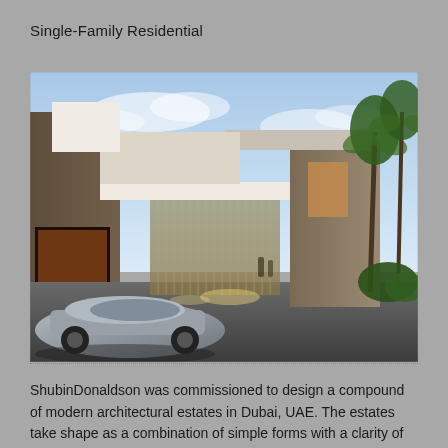Single-Family Residential
[Figure (photo): Architectural rendering of a modern luxury residential compound at dusk, showing angular stone and white concrete volumes, glass facades with warm interior lighting, palm trees, and a luxury car in the foreground driveway. Located in Dubai, UAE, designed by ShubinDonaldson.]
ShubinDonaldson was commissioned to design a compound of modern architectural estates in Dubai, UAE. The estates take shape as a combination of simple forms with a clarity of layout and